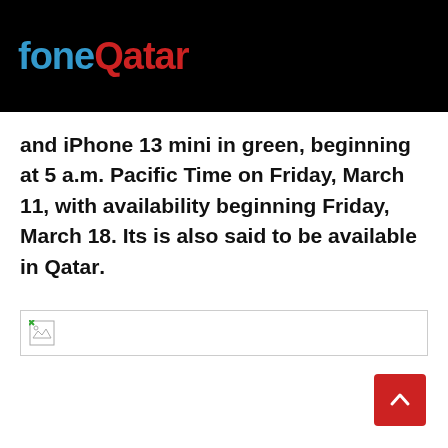foneQatar
and iPhone 13 mini in green, beginning at 5 a.m. Pacific Time on Friday, March 11, with availability beginning Friday, March 18. Its is also said to be available in Qatar.
[Figure (other): Broken/missing image placeholder with small image icon in top-left corner]
[Figure (other): Red back-to-top button with upward chevron arrow in bottom-right corner]